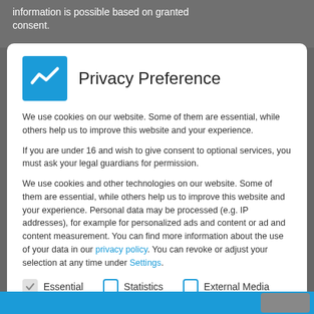information is possible based on granted consent.
Privacy Preference
We use cookies on our website. Some of them are essential, while others help us to improve this website and your experience.
If you are under 16 and wish to give consent to optional services, you must ask your legal guardians for permission.
We use cookies and other technologies on our website. Some of them are essential, while others help us to improve this website and your experience. Personal data may be processed (e.g. IP addresses), for example for personalized ads and content or ad and content measurement. You can find more information about the use of your data in our privacy policy. You can revoke or adjust your selection at any time under Settings.
Essential
Statistics
External Media